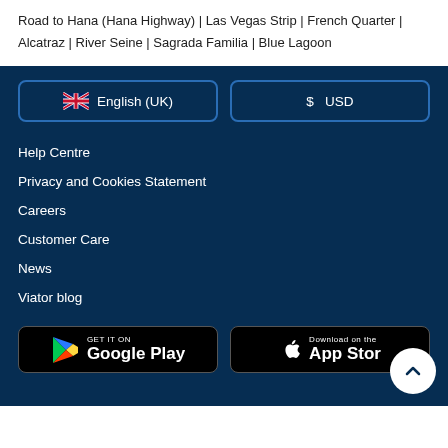Road to Hana (Hana Highway) | Las Vegas Strip | French Quarter | Alcatraz | River Seine | Sagrada Familia | Blue Lagoon
[Figure (screenshot): English (UK) language selector button with UK flag]
[Figure (screenshot): $ USD currency selector button]
Help Centre
Privacy and Cookies Statement
Careers
Customer Care
News
Viator blog
[Figure (logo): GET IT ON Google Play store button]
[Figure (logo): Download on the App Store button]